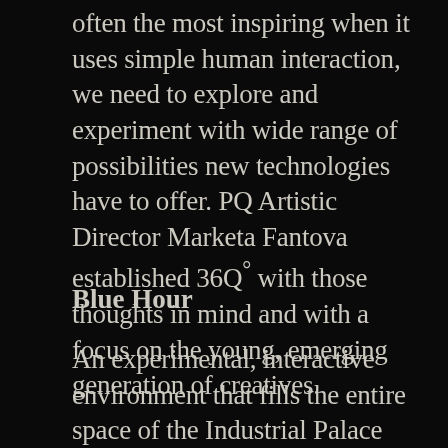often the most inspiring when it uses simple human interaction, we need to explore and experiment with wide range of possibilities new technologies have to offer. PQ Artistic Director Marketa Fantova established 36Q° with those thoughts in mind and with a focus on the young, emerging generation of creatives.
Blue Hour
An experimental, interactive environment that fills the entire space of the Industrial Palace Sports Arena will welcome visitors on 8 June and remain open until the end of PQ 2019. The project, based on intensive team work that